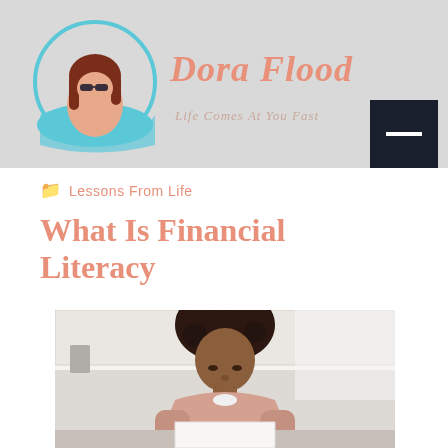[Figure (logo): Blog header banner with circular logo illustration of a woman with sunglasses and red hair in water waves, site title 'Dora Flood' in italic salmon/coral script, tagline 'Life Comes At You Fast', and dark hamburger menu button]
Lessons From Life
What Is Financial Literacy
[Figure (photo): Photo of a Black woman with curly hair, wearing a light pink hoodie, looking down and writing or studying at a table in a bright kitchen setting]